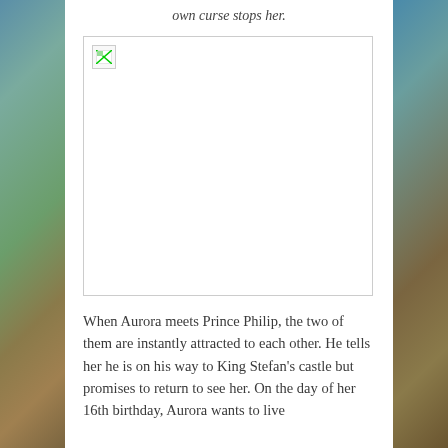own curse stops her.
[Figure (photo): A broken/unloaded image placeholder occupying a large rectangular area with a thin border.]
When Aurora meets Prince Philip, the two of them are instantly attracted to each other. He tells her he is on his way to King Stefan's castle but promises to return to see her. On the day of her 16th birthday, Aurora wants to live